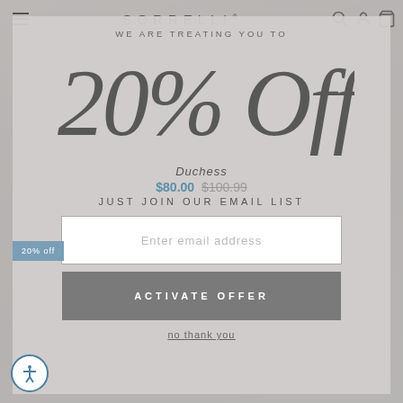SORRELLI
[Figure (screenshot): Sorrelli e-commerce website with popup modal overlay offering 20% Off discount for email signup. Background shows jewelry product (necklace). Navigation bar at top with hamburger menu, SORRELLI logo, search/account/cart icons.]
WE ARE TREATING YOU TO
20% Off!
Duchess
$80.00 $100.99
JUST JOIN OUR EMAIL LIST
Enter email address
ACTIVATE OFFER
no thank you